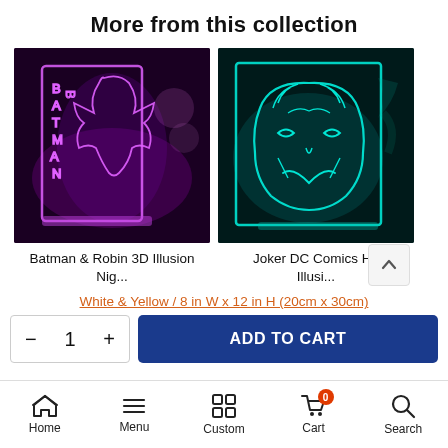More from this collection
[Figure (photo): Batman & Robin 3D illusion night light glowing purple/pink on dark background]
[Figure (photo): Joker DC Comics Head 3D illusion night light glowing teal/cyan on dark background]
Batman & Robin 3D Illusion Nig...
Joker DC Comics He Illusi...
White & Yellow / 8 in W x 12 in H (20cm x 30cm)
- 1 + ADD TO CART
Home  Menu  Custom  Cart  Search